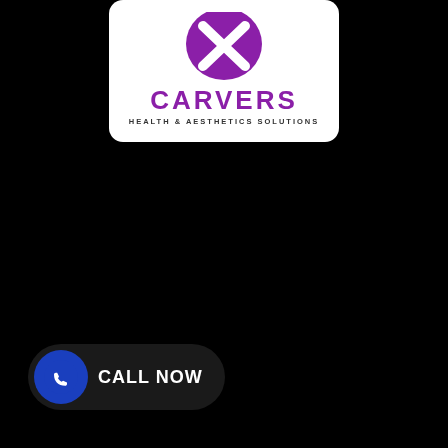[Figure (logo): Carvers Health & Aesthetics Solutions logo: purple circular icon with an X shape on top, large purple text 'CARVERS', smaller dark text 'HEALTH & AESTHETICS SOLUTIONS', on white rounded card against black background]
[Figure (screenshot): A 'CALL NOW' button at the bottom left: dark rounded pill shape with a blue circle containing a white phone/WhatsApp icon, and white text 'CALL NOW']